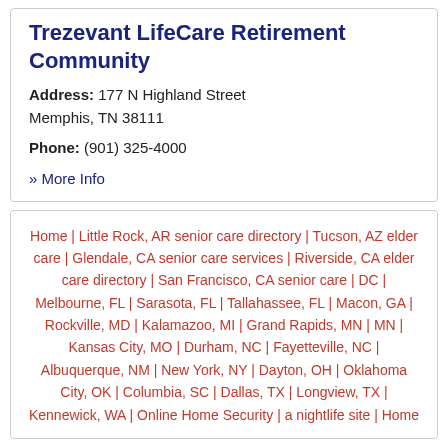Trezevant LifeCare Retirement Community
Address: 177 N Highland Street Memphis, TN 38111
Phone: (901) 325-4000
» More Info
Home | Little Rock, AR senior care directory | Tucson, AZ elder care | Glendale, CA senior care services | Riverside, CA elder care directory | San Francisco, CA senior care | DC | Melbourne, FL | Sarasota, FL | Tallahassee, FL | Macon, GA | Rockville, MD | Kalamazoo, MI | Grand Rapids, MN | MN | Kansas City, MO | Durham, NC | Fayetteville, NC | Albuquerque, NM | New York, NY | Dayton, OH | Oklahoma City, OK | Columbia, SC | Dallas, TX | Longview, TX | Kennewick, WA | Online Home Security | a nightlife site | Home